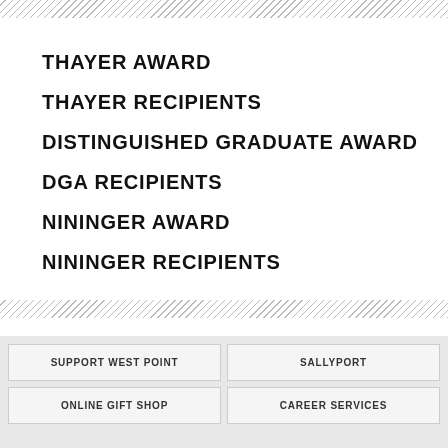THAYER AWARD
THAYER RECIPIENTS
DISTINGUISHED GRADUATE AWARD
DGA RECIPIENTS
NININGER AWARD
NININGER RECIPIENTS
SUPPORT WEST POINT | SALLYPORT | ONLINE GIFT SHOP | CAREER SERVICES